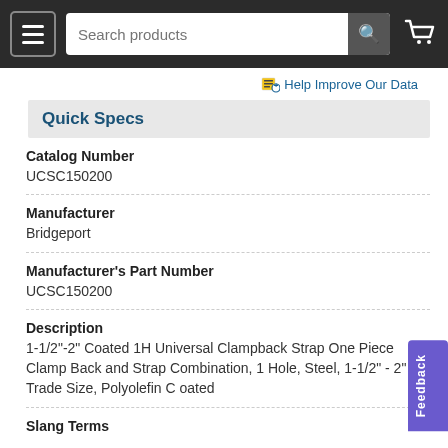Search products
Help Improve Our Data
Quick Specs
Catalog Number
UCSC150200
Manufacturer
Bridgeport
Manufacturer's Part Number
UCSC150200
Description
1-1/2"-2" Coated 1H Universal Clampback Strap One Piece Clamp Back and Strap Combination, 1 Hole, Steel, 1-1/2" - 2" Trade Size, Polyolefin Coated
Slang Terms
Categories
Emt Straps & Clamp Backs  Steel One Hole Emt